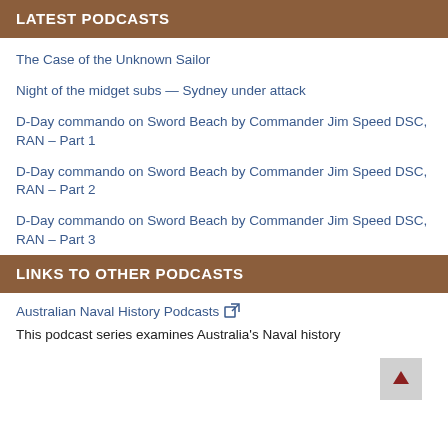LATEST PODCASTS
The Case of the Unknown Sailor
Night of the midget subs — Sydney under attack
D-Day commando on Sword Beach by Commander Jim Speed DSC, RAN – Part 1
D-Day commando on Sword Beach by Commander Jim Speed DSC, RAN – Part 2
D-Day commando on Sword Beach by Commander Jim Speed DSC, RAN – Part 3
LINKS TO OTHER PODCASTS
Australian Naval History Podcasts
This podcast series examines Australia's Naval history